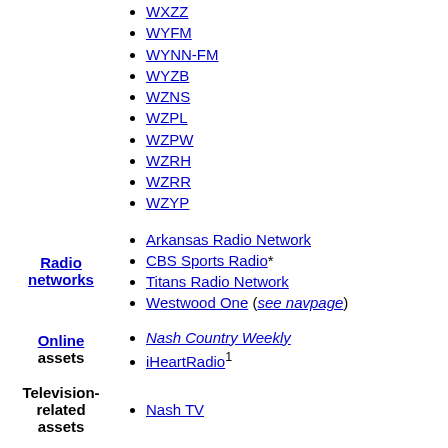WXZZ
WYFM
WYNN-FM
WYZB
WZNS
WZPL
WZPW
WZRH
WZRR
WZYP
Radio networks
Arkansas Radio Network
CBS Sports Radio*
Titans Radio Network
Westwood One (see navpage)
Online assets
Nash Country Weekly
iHeartRadio1
Television-related assets
Nash TV
Other assets
Broadcast Software International
CumulusJobs.com
San Francisco Giants (minority interest in LP)